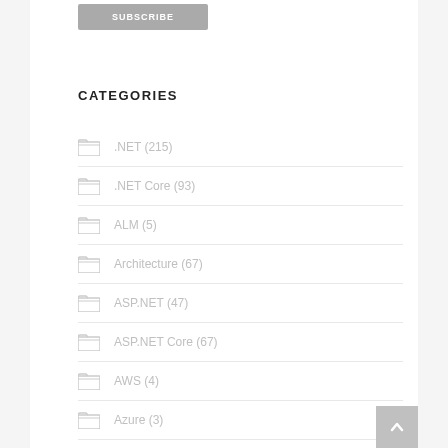SUBSCRIBE
CATEGORIES
.NET (215)
.NET Core (93)
ALM (5)
Architecture (67)
ASP.NET (47)
ASP.NET Core (67)
AWS (4)
Azure (3)
CORE (54)